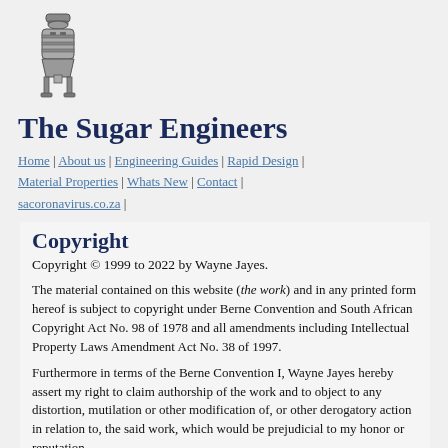[Figure (logo): Industrial equipment/tank logo for The Sugar Engineers website]
The Sugar Engineers
Home | About us | Engineering Guides | Rapid Design | Material Properties | Whats New | Contact | sacoronavirus.co.za |
Copyright
Copyright © 1999 to 2022 by Wayne Jayes.
The material contained on this website (the work) and in any printed form hereof is subject to copyright under Berne Convention and South African Copyright Act No. 98 of 1978 and all amendments including Intellectual Property Laws Amendment Act No. 38 of 1997.
Furthermore in terms of the Berne Convention I, Wayne Jayes hereby assert my right to claim authorship of the work and to object to any distortion, mutilation or other modification of, or other derogatory action in relation to, the said work, which would be prejudicial to my honor or reputation